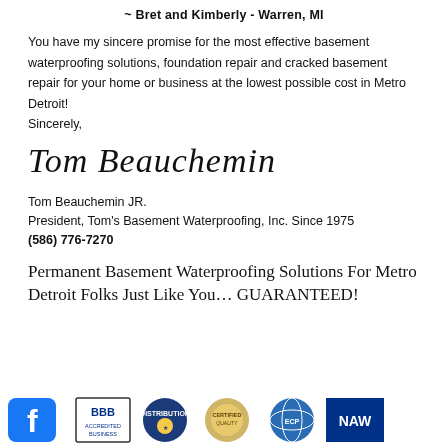~ Bret and Kimberly - Warren, MI
You have my sincere promise for the most effective basement waterproofing solutions, foundation repair and cracked basement repair for your home or business at the lowest possible cost in Metro Detroit!
Sincerely,
[Figure (illustration): Handwritten cursive signature reading 'Tom Beauchemin']
Tom Beauchemin JR.
President, Tom's Basement Waterproofing, Inc. Since 1975
(586) 776-7270
Permanent Basement Waterproofing Solutions For Metro Detroit Folks Just Like You… GUARANTEED!
[Figure (logo): Row of certification and social media logos: Facebook, BBB, a plumber mascot badge, a gold seal, Earth Contact Products globe, NAWP logo]